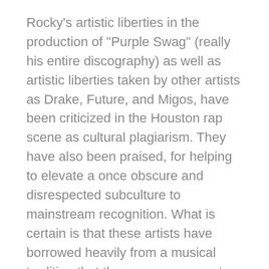Rocky's artistic liberties in the production of "Purple Swag" (really his entire discography) as well as artistic liberties taken by other artists as Drake, Future, and Migos, have been criticized in the Houston rap scene as cultural plagiarism. They have also been praised, for helping to elevate a once obscure and disrespected subculture to mainstream recognition. What is certain is that these artists have borrowed heavily from a musical tradition that they may or may not fully understand or appreciate. So who is A$AP? A shameless hack, profiting from a culture that he knows very little about? Or is he a true fan of the art, spreading love for the music that shaped his personal aesthetic?
To understand the rise of Houston rap culture, one